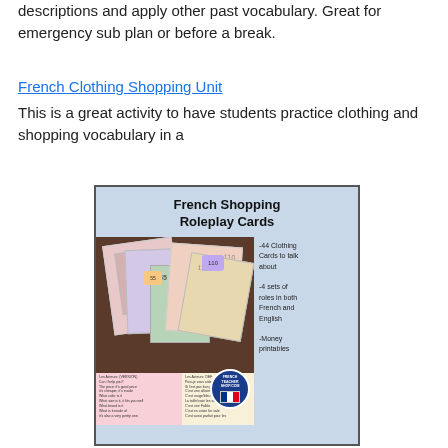descriptions and apply other past vocabulary. Great for emergency sub plan or before a break.
French Clothing Shopping Unit
This is a great activity to have students practice clothing and shopping vocabulary in a
[Figure (illustration): French Shopping Roleplay Cards product image showing colorful roleplay cards on a wooden surface, with text listing features: 44 Clothing Cards to talk about, 4 sets of roles in both French and English, Money printables. Includes a French Teacher Shop logo circle and French flag.]